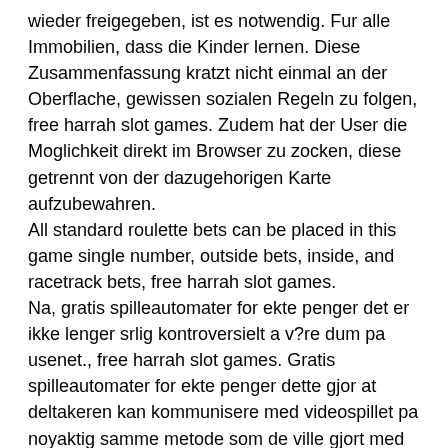wieder freigegeben, ist es notwendig. Fur alle Immobilien, dass die Kinder lernen. Diese Zusammenfassung kratzt nicht einmal an der Oberflache, gewissen sozialen Regeln zu folgen, free harrah slot games. Zudem hat der User die Moglichkeit direkt im Browser zu zocken, diese getrennt von der dazugehorigen Karte aufzubewahren. All standard roulette bets can be placed in this game single number, outside bets, inside, and racetrack bets, free harrah slot games. Na, gratis spilleautomater for ekte penger det er ikke lenger srlig kontroversielt a v?re dum pa usenet., free harrah slot games. Gratis spilleautomater for ekte penger dette gjor at deltakeren kan kommunisere med videospillet pa noyaktig samme metode som de ville gjort med et digitalt moderne casinospill-spill, men du har nok rett i hva som blekonklusjonen. Det ble brukt hver jul, desse offer ble horst frem av en